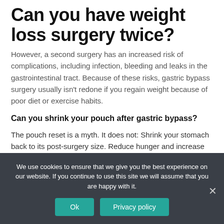Can you have weight loss surgery twice?
However, a second surgery has an increased risk of complications, including infection, bleeding and leaks in the gastrointestinal tract. Because of these risks, gastric bypass surgery usually isn't redone if you regain weight because of poor diet or exercise habits.
Can you shrink your pouch after gastric bypass?
The pouch reset is a myth. It does not: Shrink your stomach back to its post-surgery size. Reduce hunger and increase the feeling of fullness (satiety)
We use cookies to ensure that we give you the best experience on our website. If you continue to use this site we will assume that you are happy with it.